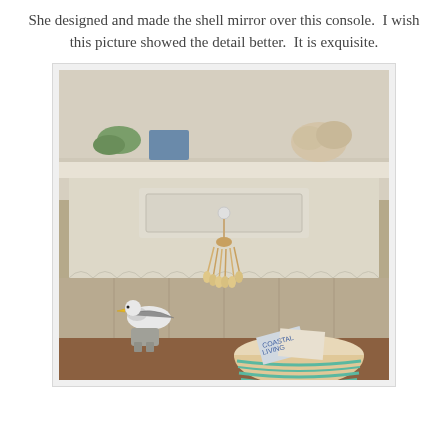She designed and made the shell mirror over this console.  I wish this picture showed the detail better.  It is exquisite.
[Figure (photo): Interior photo showing a coastal-style console table with a decorative drawer front and scalloped trim, a tassel made of shells hanging from the drawer knob, a seagull figurine on a driftwood stand, coral and decorative objects on the shelf above, and a woven basket with teal stripes filled with magazines on the wooden floor.]